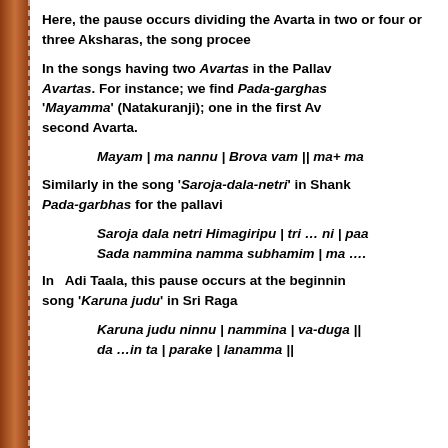Here, the pause occurs dividing the Avarta in two or four or three Aksharas, the song proce…
In the songs having two Avartas in the Pallav… Avartas. For instance; we find Pada-garghas… 'Mayamma' (Natakuranji); one in the first Av… second Avarta.
Mayam | ma nannu | Brova vam || ma+ ma…
Similarly in the song ‘Saroja-dala-netri’ in Shank… Pada-garbhas for the pallavi
Saroja dala netri Himagiripu | tri … ni | paa…
Sada nammina namma subhamim | ma ….
In Adi Taala, this pause occurs at the beginnin… song ‘Karuna judu’ in Sri Raga
Karuna judu ninnu | nammina | va-duga ||
da …in ta | parake | lanamma ||